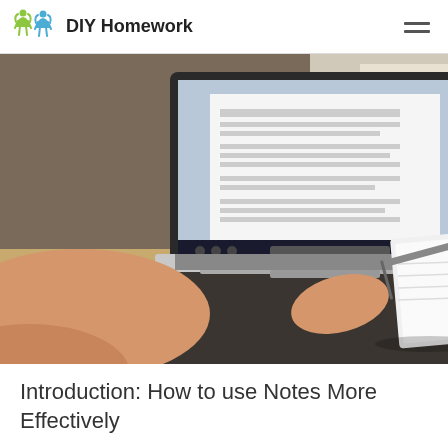DIY Homework
[Figure (photo): Person typing on a MacBook laptop at a desk with an open notebook and pen beside it]
Introduction: How to use Notes More Effectively